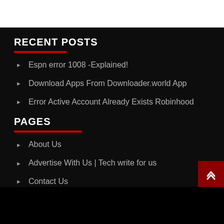RECENT POSTS
Espn error 1008 -Explained!
Download Apps From Downloader.world App
Error Active Account Already Exists Robinhood
PAGES
About Us
Advertise With Us | Tech write for us
Contact Us